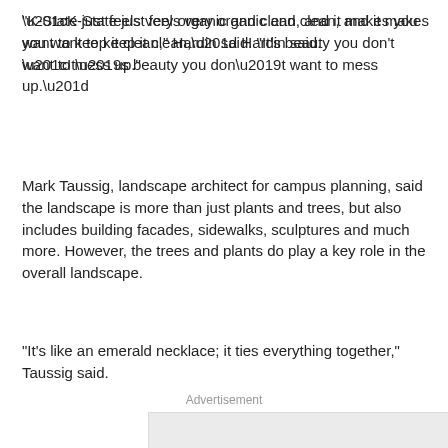“K-State just feels very organic and clean, and it makes you want to keep it clean,” Hardin said. “It’s beauty you don’t want to mess up.”
Mark Taussig, landscape architect for campus planning, said the landscape is more than just plants and trees, but also includes building facades, sidewalks, sculptures and much more. However, the trees and plants do play a key role in the overall landscape.
“It’s like an emerald necklace; it ties everything together,” Taussig said.
Advertisement
[Figure (other): Gray advertisement placeholder box]